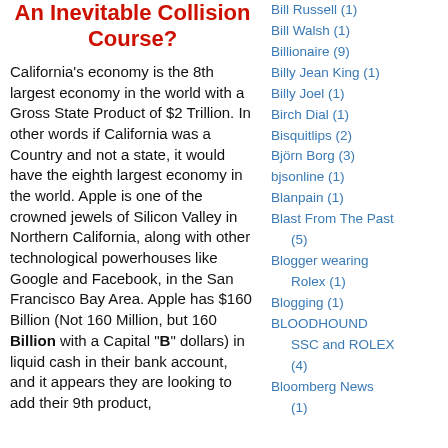An Inevitable Collision Course?
California's economy is the 8th largest economy in the world with a Gross State Product of $2 Trillion. In other words if California was a Country and not a state, it would have the eighth largest economy in the world. Apple is one of the crowned jewels of Silicon Valley in Northern California, along with other technological powerhouses like Google and Facebook, in the San Francisco Bay Area. Apple has $160 Billion (Not 160 Million, but 160 Billion with a Capital "B" dollars) in liquid cash in their bank account, and it appears they are looking to add their 9th product,
Bill Russell (1)
Bill Walsh (1)
Billionaire (9)
Billy Jean King (1)
Billy Joel (1)
Birch Dial (1)
Bisquitlips (2)
Björn Borg (3)
bjsonline (1)
Blanpain (1)
Blast From The Past (5)
Blogger wearing Rolex (1)
Blogging (1)
BLOODHOUND SSC and ROLEX (4)
Bloomberg News (1)